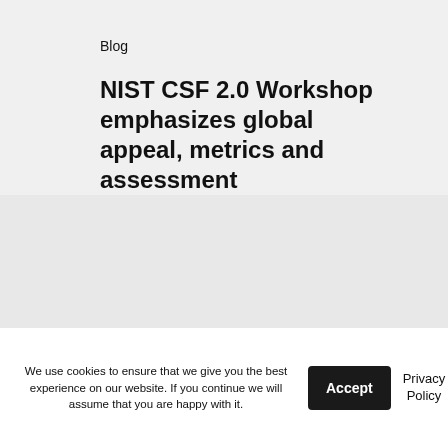Blog
NIST CSF 2.0 Workshop emphasizes global appeal, metrics and assessment
Home    About us
We use cookies to ensure that we give you the best experience on our website. If you continue we will assume that you are happy with it.
Accept
Privacy Policy